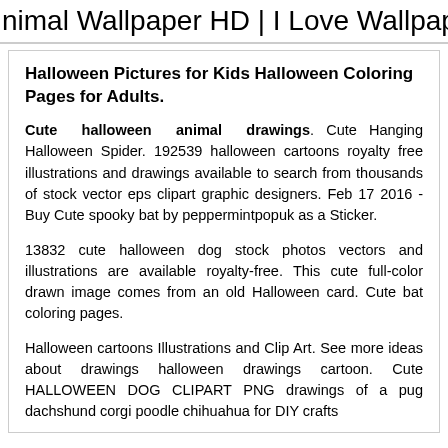nimal Wallpaper HD | I Love Wallpap
Halloween Pictures for Kids Halloween Coloring Pages for Adults.
Cute halloween animal drawings. Cute Hanging Halloween Spider. 192539 halloween cartoons royalty free illustrations and drawings available to search from thousands of stock vector eps clipart graphic designers. Feb 17 2016 - Buy Cute spooky bat by peppermintpopuk as a Sticker.
13832 cute halloween dog stock photos vectors and illustrations are available royalty-free. This cute full-color drawn image comes from an old Halloween card. Cute bat coloring pages.
Halloween cartoons Illustrations and Clip Art. See more ideas about drawings halloween drawings cartoon. Cute HALLOWEEN DOG CLIPART PNG drawings of a pug dachshund corgi poodle chihuahua for DIY crafts